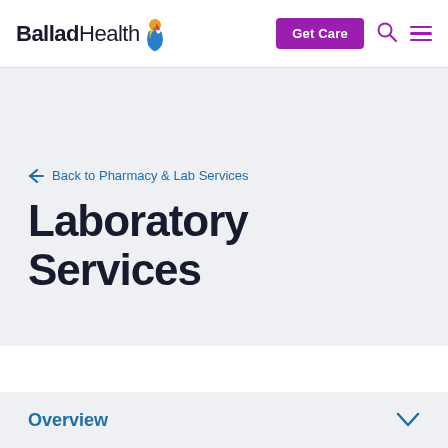Ballad Health — Get Care
← Back to Pharmacy & Lab Services
Laboratory Services
Overview